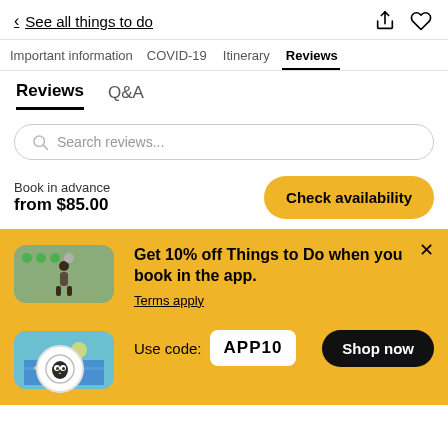< See all things to do
Important information  COVID-19  Itinerary  Reviews
Reviews  Q&A
Search reviews...
Book in advance
from $85.00
Check availability
Get 10% off Things to Do when you book in the app.
Terms apply
Use code: APP10
Shop now